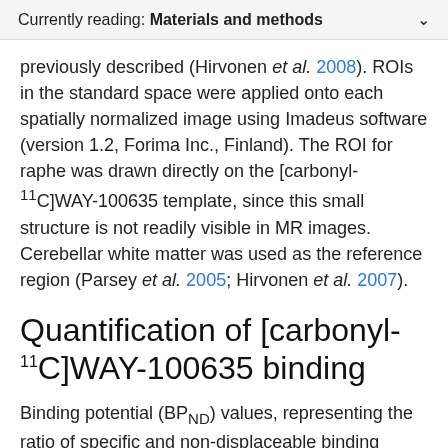Currently reading: Materials and methods
previously described (Hirvonen et al. 2008). ROIs in the standard space were applied onto each spatially normalized image using Imadeus software (version 1.2, Forima Inc., Finland). The ROI for raphe was drawn directly on the [carbonyl-11C]WAY-100635 template, since this small structure is not readily visible in MR images. Cerebellar white matter was used as the reference region (Parsey et al. 2005; Hirvonen et al. 2007).
Quantification of [carbonyl-11C]WAY-100635 binding
Binding potential (BPND) values, representing the ratio of specific and non-displaceable binding (Innis et al. 2007) were estimated using the simplified reference